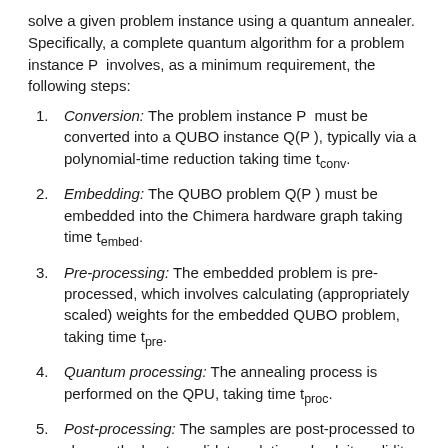solve a given problem instance using a quantum annealer. Specifically, a complete quantum algorithm for a problem instance P involves, as a minimum requirement, the following steps:
Conversion: The problem instance P must be converted into a QUBO instance Q(P), typically via a polynomial-time reduction taking time t_conv.
Embedding: The QUBO problem Q(P) must be embedded into the Chimera hardware graph taking time t_embed.
Pre-processing: The embedded problem is pre-processed, which involves calculating (appropriately scaled) weights for the embedded QUBO problem, taking time t_pre.
Quantum processing: The annealing process is performed on the QPU, taking time t_proc.
Post-processing: The samples are post-processed to choose the best candidate solution, check its validity, and perform any other post-processing methods to